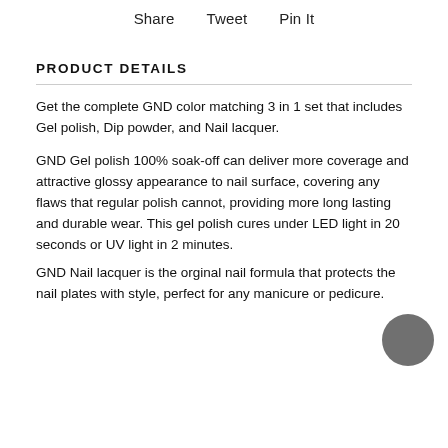Share   Tweet   Pin It
PRODUCT DETAILS
Get the complete GND color matching 3 in 1 set that includes Gel polish, Dip powder, and Nail lacquer.
GND Gel polish 100% soak-off can deliver more coverage and attractive glossy appearance to nail surface, covering any flaws that regular polish cannot, providing more long lasting and durable wear. This gel polish cures under LED light in 20 seconds or UV light in 2 minutes.
GND Nail lacquer is the orginal nail formula that protects the nail plates with style, perfect for any manicure or pedicure.